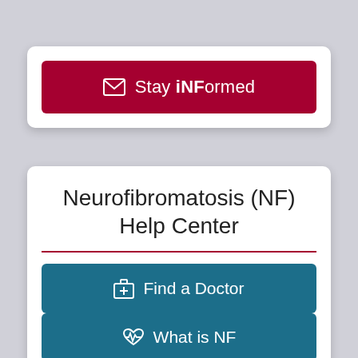[Figure (infographic): Crimson button with envelope icon: Stay iNFormed]
Neurofibromatosis (NF) Help Center
[Figure (infographic): Teal button with medical kit icon: Find a Doctor]
[Figure (infographic): Teal button with heartbeat icon: What is NF]
[Figure (infographic): Teal button with map pin icon: Find an NF Group]